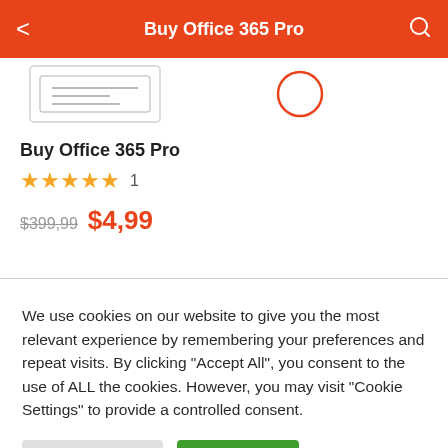Buy Office 365 Pro
[Figure (illustration): Partial product image visible at top of page below header bar]
Buy Office 365 Pro
★★★★★  1
$399,99  $4,99
We use cookies on our website to give you the most relevant experience by remembering your preferences and repeat visits. By clicking "Accept All", you consent to the use of ALL the cookies. However, you may visit "Cookie Settings" to provide a controlled consent.
Cookie Settings   Accept All